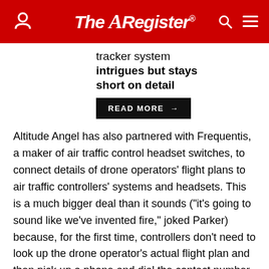The Register
tracker system intrigues but stays short on detail
READ MORE →
Altitude Angel has also partnered with Frequentis, a maker of air traffic control headset switches, to connect details of drone operators' flight plans to air traffic controllers' systems and headsets. This is a much bigger deal than it sounds ("it's going to sound like we've invented fire," joked Parker) because, for the first time, controllers don't need to look up the drone operator's actual flight plan and then pick up a phone and dial the contact number if something looks like it's going wrong (say, the drone strays outside its authorised area or height). The controller simply flicks